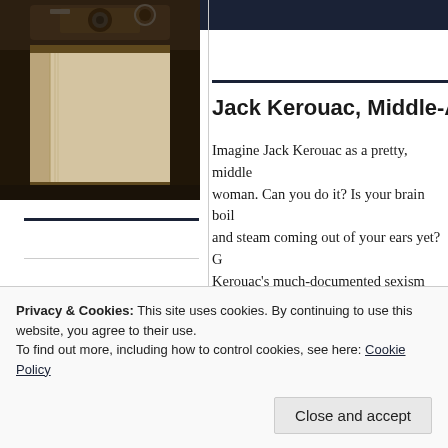[Figure (photo): Sepia-toned photograph of a book viewed from the spine end, with a vintage camera or typewriter visible at top]
About
Jack Kerouac, Middle-Age...
Imagine Jack Kerouac as a pretty, middle... woman. Can you do it? Is your brain boil... and steam coming out of your ears yet? G... Kerouac's much-documented sexism and position as America's beloved literary ba... the idea of hearing his words come out o... mature woman's mouth might seem a str... But that's exactly what you'll experience head to the Center for Photography at Woodstock for Adie Russell's unexpected...
Privacy & Cookies: This site uses cookies. By continuing to use this website, you agree to their use.
To find out more, including how to control cookies, see here: Cookie Policy
Close and accept